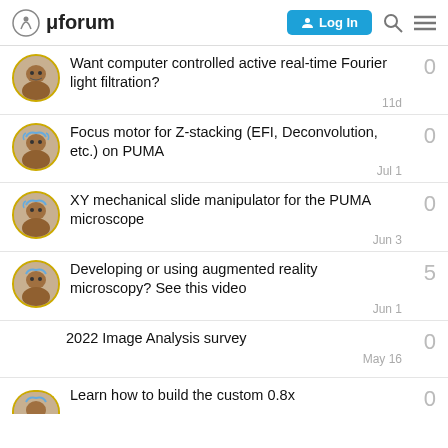μforum — Log In
Want computer controlled active real-time Fourier light filtration? — 0 replies — 11d
Focus motor for Z-stacking (EFI, Deconvolution, etc.) on PUMA — 0 replies — Jul 1
XY mechanical slide manipulator for the PUMA microscope — 0 replies — Jun 3
Developing or using augmented reality microscopy? See this video — 5 replies — Jun 1
2022 Image Analysis survey — 0 replies — May 16
Learn how to build the custom 0.8x — 0 replies